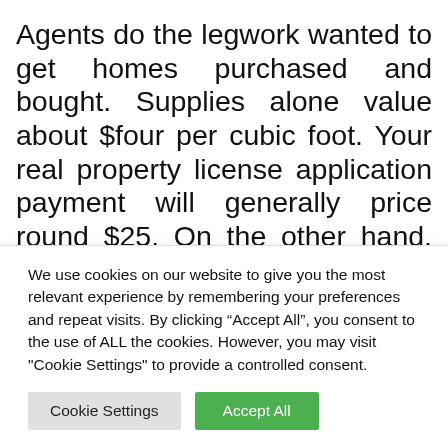Agents do the legwork wanted to get homes purchased and bought. Supplies alone value about $four per cubic foot. Your real property license application payment will generally price round $25. On the other hand, the buyer's agent search for real estate that fits the customer's needs, specs, and worth vary. The vendor is occupied working to make certain that there are not any encumbrances on the property which may impair the ability of the vendor to convey the property to the buyer
We use cookies on our website to give you the most relevant experience by remembering your preferences and repeat visits. By clicking “Accept All”, you consent to the use of ALL the cookies. However, you may visit "Cookie Settings" to provide a controlled consent.